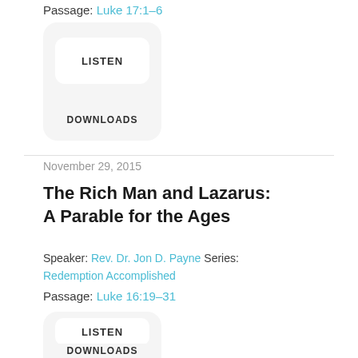Passage: Luke 17:1–6
[Figure (screenshot): A rounded rectangle button group showing LISTEN and DOWNLOADS options]
November 29, 2015
The Rich Man and Lazarus: A Parable for the Ages
Speaker: Rev. Dr. Jon D. Payne Series: Redemption Accomplished
Passage: Luke 16:19–31
[Figure (screenshot): A rounded rectangle button group showing LISTEN and DOWNLOADS options (partially visible)]